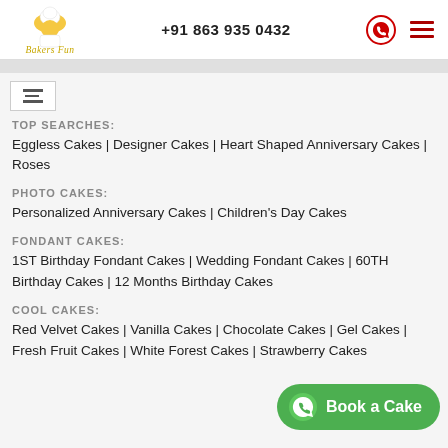+91 863 935 0432
TOP SEARCHES:
Eggless Cakes | Designer Cakes | Heart Shaped Anniversary Cakes | Roses
PHOTO CAKES:
Personalized Anniversary Cakes | Children's Day Cakes
FONDANT CAKES:
1ST Birthday Fondant Cakes | Wedding Fondant Cakes | 60TH Birthday Cakes | 12 Months Birthday Cakes
COOL CAKES:
Red Velvet Cakes | Vanilla Cakes | Chocolate Cakes | Gel Cakes | Fresh Fruit Cakes | White Forest Cakes | Strawberry Cakes